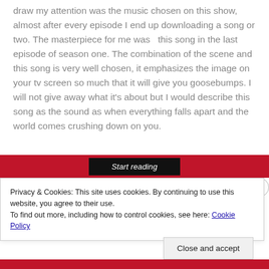draw my attention was the music chosen on this show, almost after every episode I end up downloading a song or two. The masterpiece for me was  this song in the last episode of season one. The combination of the scene and this song is very well chosen, it emphasizes the image on your tv screen so much that it will give you goosebumps. I will not give away what it's about but I would describe this song as the sound as when everything falls apart and the world comes crushing down on you.
[Figure (screenshot): A red banner with a black 'Start reading' button in italic text]
Privacy & Cookies: This site uses cookies. By continuing to use this website, you agree to their use.
To find out more, including how to control cookies, see here: Cookie Policy
Close and accept